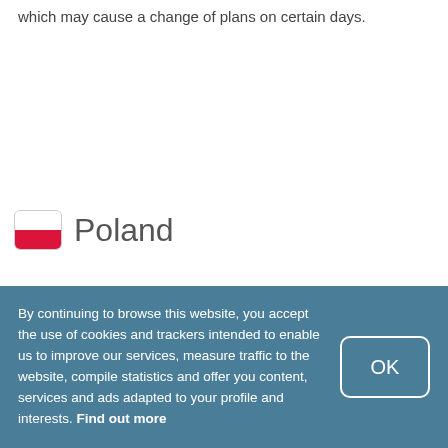which may cause a change of plans on certain days.
Poland
[Figure (photo): Two image placeholder boxes with camera icons, side by side]
By continuing to browse this website, you accept the use of cookies and trackers intended to enable us to improve our services, measure traffic to the website, compile statistics and offer you content, services and ads adapted to your profile and interests. Find out more